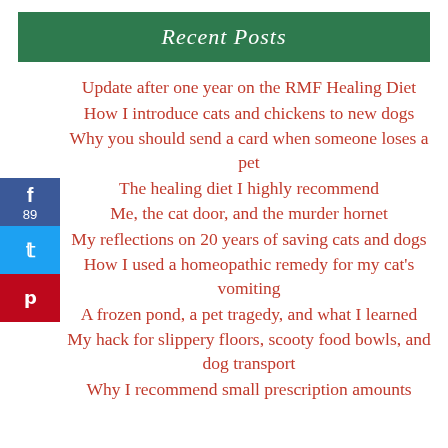Recent Posts
Update after one year on the RMF Healing Diet
How I introduce cats and chickens to new dogs
Why you should send a card when someone loses a pet
The healing diet I highly recommend
Me, the cat door, and the murder hornet
My reflections on 20 years of saving cats and dogs
How I used a homeopathic remedy for my cat's vomiting
A frozen pond, a pet tragedy, and what I learned
My hack for slippery floors, scooty food bowls, and dog transport
Why I recommend small prescription amounts